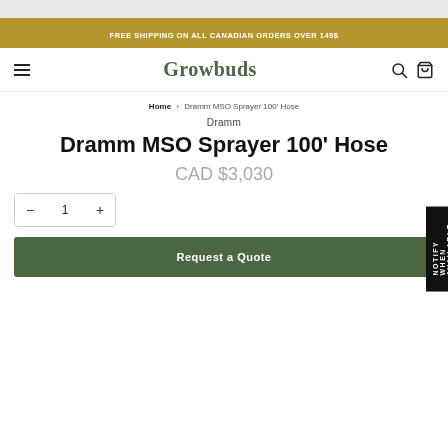FREE SHIPPING ON ALL CANADIAN ORDERS OVER 149$
Growbuds
Home › Dramm MSO Sprayer 100' Hose
Dramm
Dramm MSO Sprayer 100' Hose
CAD $3,030
1
Request a Quote
NOTIFY WHEN AVAILABLE